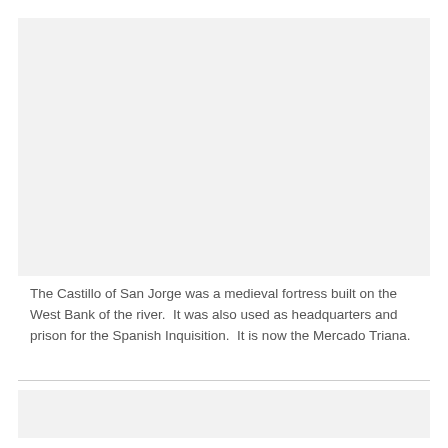[Figure (photo): A large light gray rectangular image placeholder occupying the top portion of the page.]
The Castillo of San Jorge was a medieval fortress built on the West Bank of the river.  It was also used as headquarters and prison for the Spanish Inquisition.  It is now the Mercado Triana.
[Figure (photo): A light gray rectangular image placeholder occupying the bottom portion of the page below a horizontal divider.]